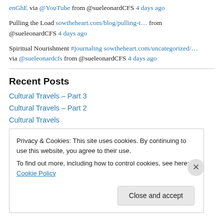enGhE via @YouTube from @sueleonardCFS 4 days ago
Pulling the Load sowtheheart.com/blog/pulling-t… from @sueleonardCFS 4 days ago
Spiritual Nourishment #journaling sowtheheart.com/uncategorized/… via @sueleonardcfs from @sueleonardCFS 4 days ago
Recent Posts
Cultural Travels – Part 3
Cultural Travels – Part 2
Cultural Travels
Privacy & Cookies: This site uses cookies. By continuing to use this website, you agree to their use.
To find out more, including how to control cookies, see here: Cookie Policy
Close and accept